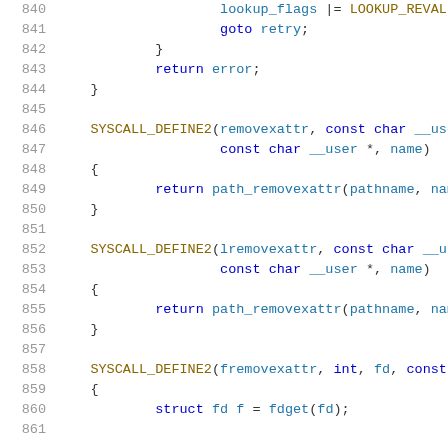Code listing lines 840-861: C source code showing system calls removexattr, lremovexattr, fremovexattr